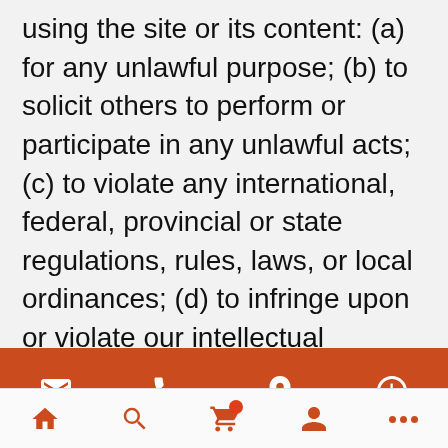using the site or its content: (a) for any unlawful purpose; (b) to solicit others to perform or participate in any unlawful acts; (c) to violate any international, federal, provincial or state regulations, rules, laws, or local ordinances; (d) to infringe upon or violate our intellectual property rights or the intellectual property rights of others; (e) to harass, abuse, insult, harm, defame, slander, disparage, intimidate, or discriminate based on gender, sexual orientation, religion, ethnicity, race,
Email | Call | Map | Hours